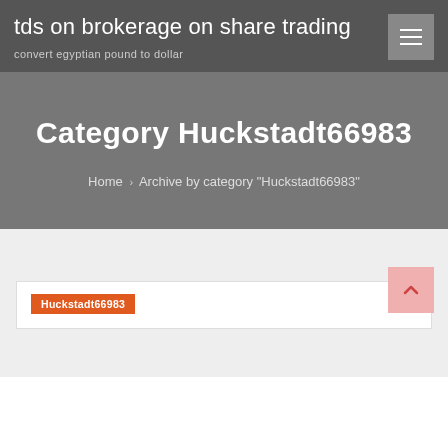tds on brokerage on share trading
convert egyptian pound to dollar
Category Huckstadt66983
Home › Archive by category "Huckstadt66983"
Huckstadt66983